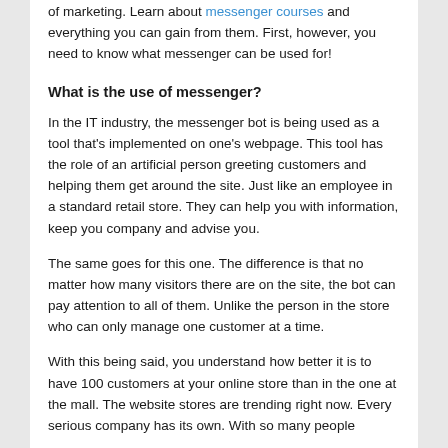of marketing. Learn about messenger courses and everything you can gain from them. First, however, you need to know what messenger can be used for!
What is the use of messenger?
In the IT industry, the messenger bot is being used as a tool that’s implemented on one’s webpage. This tool has the role of an artificial person greeting customers and helping them get around the site. Just like an employee in a standard retail store. They can help you with information, keep you company and advise you.
The same goes for this one. The difference is that no matter how many visitors there are on the site, the bot can pay attention to all of them. Unlike the person in the store who can only manage one customer at a time.
With this being said, you understand how better it is to have 100 customers at your online store than in the one at the mall. The website stores are trending right now. Every serious company has its own. With so many people